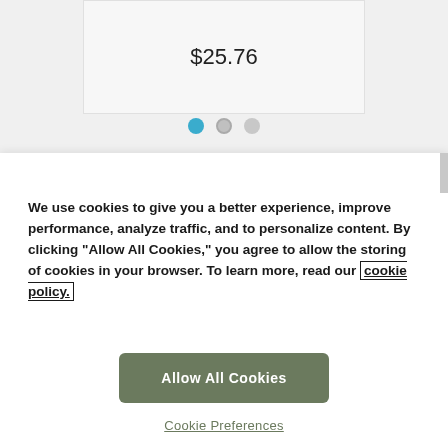$25.76
[Figure (other): Carousel pagination dots: one active blue dot and two inactive gray dots]
We use cookies to give you a better experience, improve performance, analyze traffic, and to personalize content. By clicking "Allow All Cookies," you agree to allow the storing of cookies in your browser. To learn more, read our cookie policy.
Allow All Cookies
Cookie Preferences